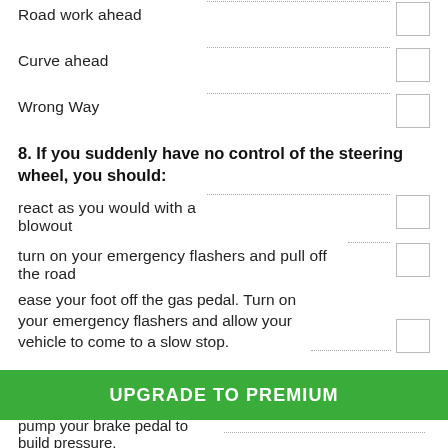Road work ahead
Curve ahead
Wrong Way
8. If you suddenly have no control of the steering wheel, you should:
react as you would with a blowout
turn on your emergency flashers and pull off the road
ease your foot off the gas pedal. Turn on your emergency flashers and allow your vehicle to come to a slow stop.
UPGRADE TO PREMIUM
pump your brake pedal to build pressure.